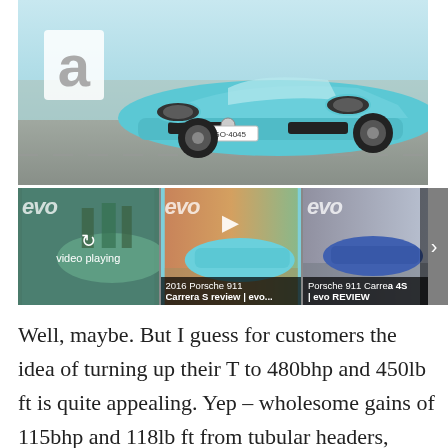[Figure (screenshot): Screenshot of a video player showing a light blue Porsche 911 from the front, driving on a road. An 'a' logo (autocar/auto) is visible in the lower left of the main image. Below the main video are three thumbnail videos from 'evo' magazine: the first shows 'video playing', the second shows '2016 Porsche 911 Carrera S review | evo...', the third shows 'Porsche 911 Carrera 4S | evo REVIEW'. A right navigation arrow is visible.]
Well, maybe. But I guess for customers the idea of turning up their T to 480bhp and 450lb ft is quite appealing. Yep – wholesome gains of 115bhp and 118lb ft from tubular headers, freer-flowing cats, an Akrapovič rear silencer and an ECU remap. Litchfield has also worked hard on the chassis, lowering the